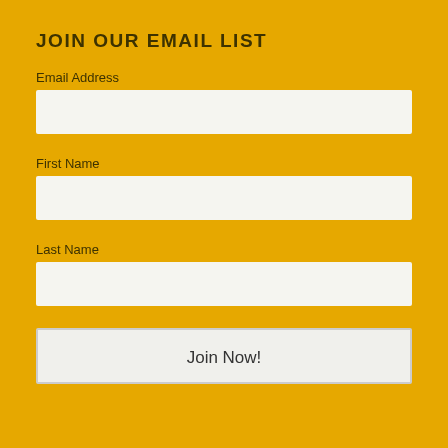JOIN OUR EMAIL LIST
Email Address
First Name
Last Name
Join Now!